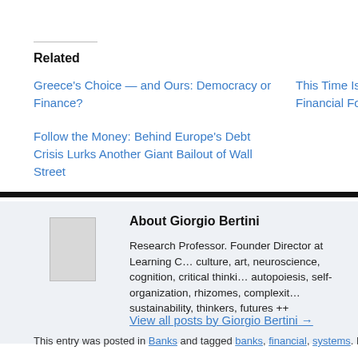Related
Greece’s Choice — and Ours: Democracy or Finance?
This Time Is Di… Financial Folly
Follow the Money: Behind Europe’s Debt Crisis Lurks Another Giant Bailout of Wall Street
About Giorgio Bertini
Research Professor. Founder Director at Learning C… culture, art, neuroscience, cognition, critical thinki… autopoiesis, self-organization, rhizomes, complexit… sustainability, thinkers, futures ++
View all posts by Giorgio Bertini →
This entry was posted in Banks and tagged banks, financial, systems. Bookm…